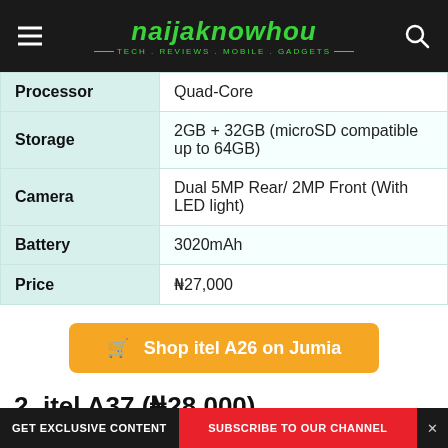[Figure (logo): NaijaKnowHow website header with logo, hamburger menu, and search icon on dark background]
| Processor | Quad-Core |
| Storage | 2GB + 32GB (microSD compatible up to 64GB) |
| Camera | Dual 5MP Rear/ 2MP Front (With LED light) |
| Battery | 3020mAh |
| Price | ₦27,000 |
Shop itel A26 on Jumia
2. itel A37 (₦28,000)
GET EXCLUSIVE CONTENT  SUBSCRIBE TO OUR CHANNEL  X